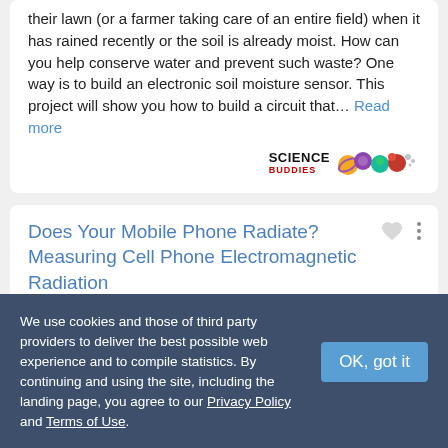their lawn (or a farmer taking care of an entire field) when it has rained recently or the soil is already moist. How can you help conserve water and prevent such waste? One way is to build an electronic soil moisture sensor. This project will show you how to build a circuit that… Read more
[Figure (logo): Science Buddies logo with colored molecule/atom graphic icons]
Does Your Mobile Phone Radiate? Measuring Cell Phone Electromagnetic Radiation
Science Fair Project Idea
We use cookies and those of third party providers to deliver the best possible web experience and to compile statistics. By continuing and using the site, including the landing page, you agree to our Privacy Policy and Terms of Use.